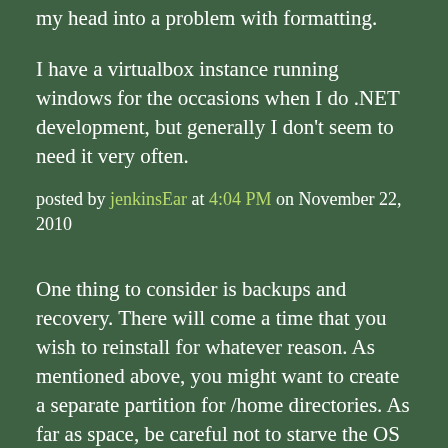my head into a problem with formatting.
I have a virtualbox instance running windows for the occasions when I do .NET development, but generally I don't seem to need it very often.
posted by jenkinsEar at 4:04 PM on November 22, 2010
One thing to consider is backups and recovery. There will come a time that you wish to reinstall for whatever reason. As mentioned above, you might want to create a separate partition for /home directories. As far as space, be careful not to starve the OS partition or upgrades could be dicey. One fun thing I do with that setup is dualboot Ubuntu and Ubuntu+1 with a shared homedir. It's a lot easier to get bugs fixed before the final version is released, and having a reliable OS installed as well helps when things are truly b0rked.